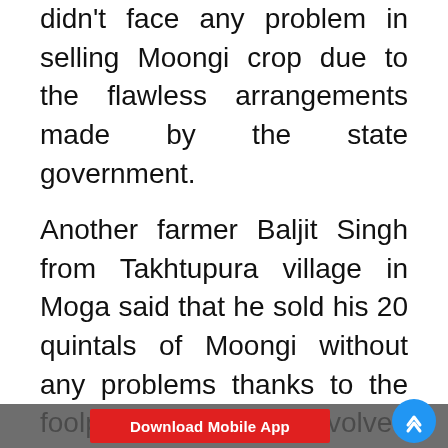didn't face any problem in selling Moongi crop due to the flawless arrangements made by the state government.
Another farmer Baljit Singh from Takhtupura village in Moga said that he sold his 20 quintals of Moongi without any problems thanks to the foolproof mechanism evolved by the state government. The farmer said that unprecedentedly he was able to sell his crop In a smooth and hassle free manner. He said that this initiative of the Chief Minister will go a long way in supplementing the income of the farmers by encou... opt crop